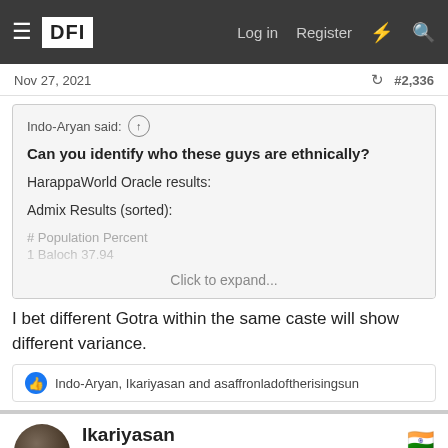DFI — Log in  Register
Nov 27, 2021  #2,336
Indo-Aryan said: ↑
Can you identify who these guys are ethnically?
HarappaWorld Oracle results:
Admix Results (sorted):
# Population Percent
1 Baloch 37.94
Click to expand...
I bet different Gotra within the same caste will show different variance.
Indo-Aryan, Ikariyasan and asaffronladoftherisingsun
Ikariyasan
Regular Member